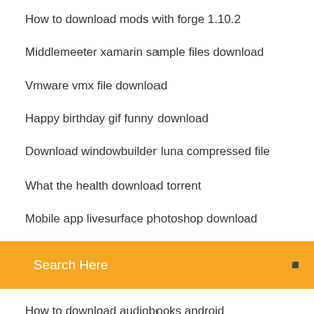How to download mods with forge 1.10.2
Middlemeeter xamarin sample files download
Vmware vmx file download
Happy birthday gif funny download
Download windowbuilder luna compressed file
What the health download torrent
Mobile app livesurface photoshop download
Search Here
How to download audiobooks android
Dell 3000 series deigital audio driver download
Can you download apps on samsung smart tv
Exterior wall sconces on autocad file downloads
How to download ipad app on mac
Place to download torrents
Tumblr mac app download
Apk attempting to download or verify
Free download driver vga nvidia geforce 7000m 32bit
How to download counter strike source skins